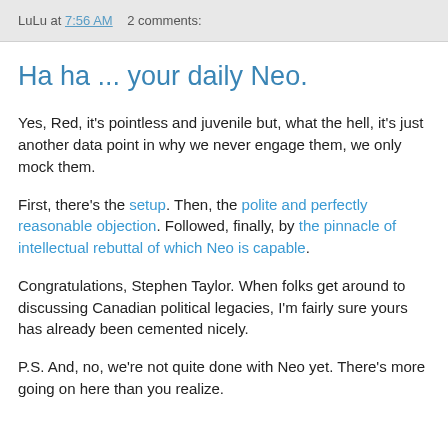LuLu at 7:56 AM   2 comments:
Ha ha ... your daily Neo.
Yes, Red, it's pointless and juvenile but, what the hell, it's just another data point in why we never engage them, we only mock them.
First, there's the setup. Then, the polite and perfectly reasonable objection. Followed, finally, by the pinnacle of intellectual rebuttal of which Neo is capable.
Congratulations, Stephen Taylor. When folks get around to discussing Canadian political legacies, I'm fairly sure yours has already been cemented nicely.
P.S. And, no, we're not quite done with Neo yet. There's more going on here than you realize.